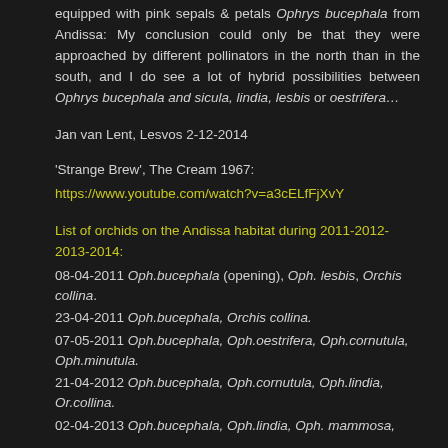equipped with pink sepals & petals Ophrys bucephala from Andissa: My conclusion could only be that they were approached by different pollinators in the north than in the south, and I do see a lot of hybrid possibilities between Ophrys bucephala and sicula, lindia, lesbis or oestrifera…
Jan van Lent, Lesvos 2-12-2014
'Strange Brew', The Cream 1967:
https://www.youtube.com/watch?v=a3cELfFjXvY
List of orchids on the Andissa habitat during 2011-2012-2013-2014:
08-04-2011 Oph.bucephala (opening), Oph. lesbis, Orchis collina.
23-04-2011 Oph.bucephala, Orchis collina.
07-05-2011 Oph.bucephala, Oph.oestrifera, Oph.cornutula, Oph.minutula.
21-04-2012 Oph.bucephala, Oph.cornutula, Oph.lindia, Or.collina.
02-04-2013 Oph.bucephala, Oph.lindia, Oph. mammosa,